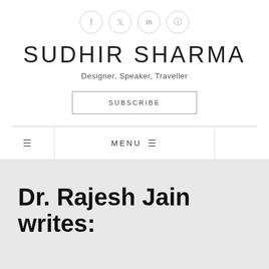[Figure (other): Social media icons: Facebook, Twitter, LinkedIn, Instagram in circular borders]
SUDHIR SHARMA
Designer, Speaker, Traveller
SUBSCRIBE
MENU
Dr. Rajesh Jain writes: